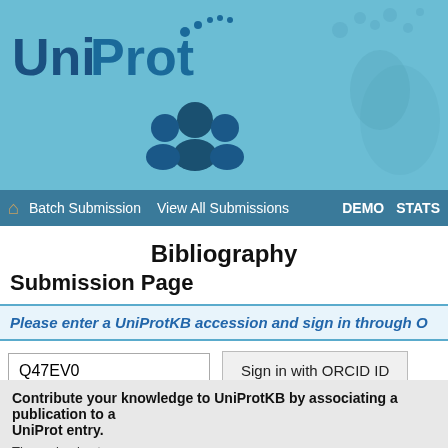[Figure (logo): UniProt logo with blue text and people icon on light blue background header banner]
Batch Submission   View All Submissions   DEMO   STATS
Bibliography
Submission Page
Please enter a UniProtKB accession and sign in through O...
Q47EV0   Sign in with ORCID ID
Contribute your knowledge to UniProtKB by associating a publication to a UniProt entry.
Three simple steps:
1-Enter UniProtKB Accession (see box above)
2-Sign in with ORCID